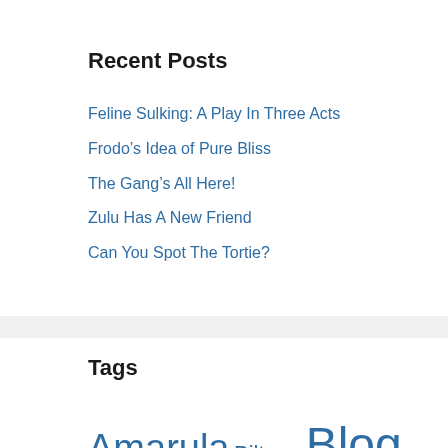Recent Posts
Feline Sulking: A Play In Three Acts
Frodo's Idea of Pure Bliss
The Gang's All Here!
Zulu Has A New Friend
Can You Spot The Tortie?
Tags
Amarula Biltong Blog Hop Catfight!